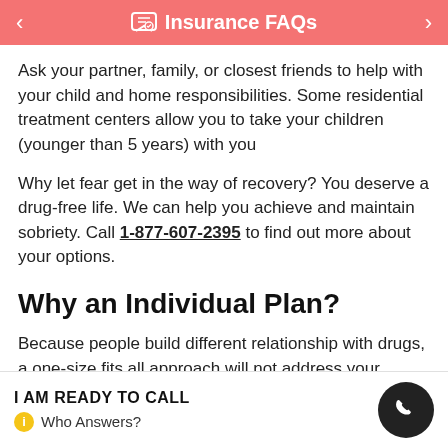Insurance FAQs
Ask your partner, family, or closest friends to help with your child and home responsibilities. Some residential treatment centers allow you to take your children (younger than 5 years) with you
Why let fear get in the way of recovery? You deserve a drug-free life. We can help you achieve and maintain sobriety. Call 1-877-607-2395 to find out more about your options.
Why an Individual Plan?
Because people build different relationship with drugs, a one-size fits all approach will not address your unique recovery needs. Instead of a standard match, treatment programs need to be
I AM READY TO CALL
Who Answers?